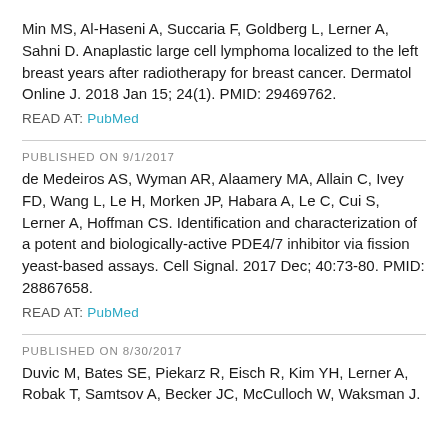Min MS, Al-Haseni A, Succaria F, Goldberg L, Lerner A, Sahni D. Anaplastic large cell lymphoma localized to the left breast years after radiotherapy for breast cancer. Dermatol Online J. 2018 Jan 15; 24(1). PMID: 29469762.
READ AT: PubMed
PUBLISHED ON 9/1/2017
de Medeiros AS, Wyman AR, Alaamery MA, Allain C, Ivey FD, Wang L, Le H, Morken JP, Habara A, Le C, Cui S, Lerner A, Hoffman CS. Identification and characterization of a potent and biologically-active PDE4/7 inhibitor via fission yeast-based assays. Cell Signal. 2017 Dec; 40:73-80. PMID: 28867658.
READ AT: PubMed
PUBLISHED ON 8/30/2017
Duvic M, Bates SE, Piekarz R, Eisch R, Kim YH, Lerner A, Robak T, Samtsov A, Becker JC, McCulloch W, Waksman J.